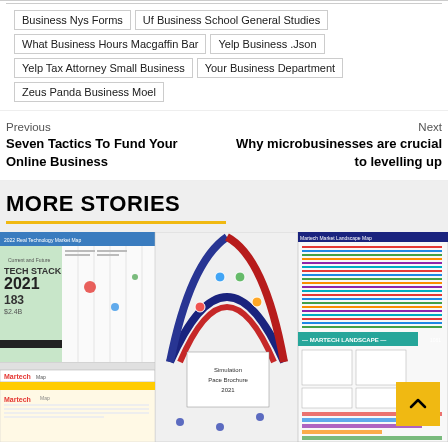Business Nys Forms
Uf Business School General Studies
What Business Hours Macgaffin Bar
Yelp Business .Json
Yelp Tax Attorney Small Business
Your Business Department
Zeus Panda Business Moel
Previous
Seven Tactics To Fund Your Online Business
Next
Why microbusinesses are crucial to levelling up
MORE STORIES
[Figure (screenshot): Collage of multiple marketing technology and business landscape maps including Research Technology Market Map, MarTech map, Tech Stack 2021 with 183 items and $2.4B value, Simulation Pace Brochure 2021, Martech Landscape, and other business/marketing infographic charts.]